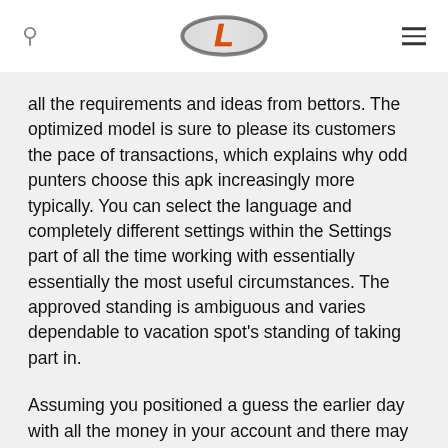[Logo: L] [Search icon] [Menu icon]
all the requirements and ideas from bettors. The optimized model is sure to please its customers the pace of transactions, which explains why odd punters choose this apk increasingly more typically. You can select the language and completely different settings within the Settings part of all the time working with essentially essentially the most useful circumstances. The approved standing is ambiguous and varies dependable to vacation spot's standing of taking part in.
Assuming you positioned a guess the earlier day with all the money in your account and there may be over ninety per cent chance that you're